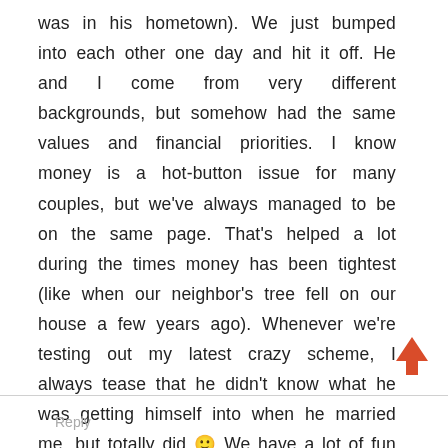was in his hometown). We just bumped into each other one day and hit it off. He and I come from very different backgrounds, but somehow had the same values and financial priorities. I know money is a hot-button issue for many couples, but we've always managed to be on the same page. That's helped a lot during the times money has been tightest (like when our neighbor's tree fell on our house a few years ago). Whenever we're testing out my latest crazy scheme, I always tease that he didn't know what he was getting himself into when he married me, but totally did 🙂 We have a lot of fun together.
Reply